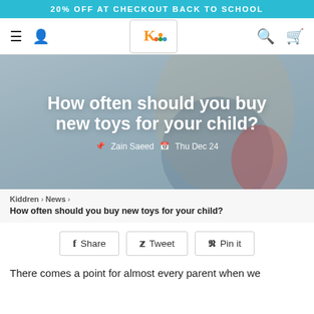20% OFF AT CHECKOUT BACK TO SCHOOL
[Figure (screenshot): Navigation bar with hamburger menu, user icon, Kiddren logo (K with colored dots), search icon, and cart icon]
[Figure (photo): Hero image of a smiling child in winter clothes holding a doll, with overlaid white title text: 'How often should you buy new toys for your child?' and meta text: 'Zain Saeed · Thu Dec 24']
Kiddren > News > How often should you buy new toys for your child?
How often should you buy new toys for your child?
f Share   Tweet   Pin it
There comes a point for almost every parent when we